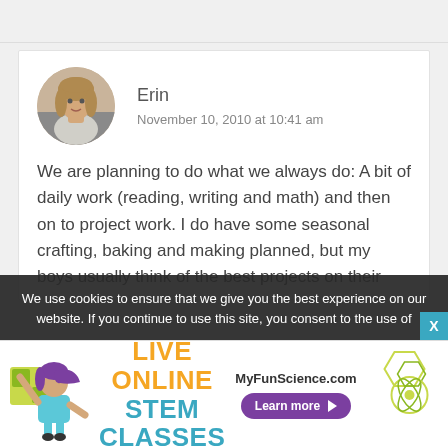Erin
November 10, 2010 at 10:41 am
We are planning to do what we always do: A bit of daily work (reading, writing and math) and then on to project work. I do have some seasonal crafting, baking and making planned, but my boys usually think of the best projects on their own.
We use cookies to ensure that we give you the best experience on our website. If you continue to use this site, you consent to the use of
[Figure (illustration): Advertisement banner for MyFunScience.com showing a cartoon girl with text LIVE ONLINE STEM CLASSES and a Learn more button]